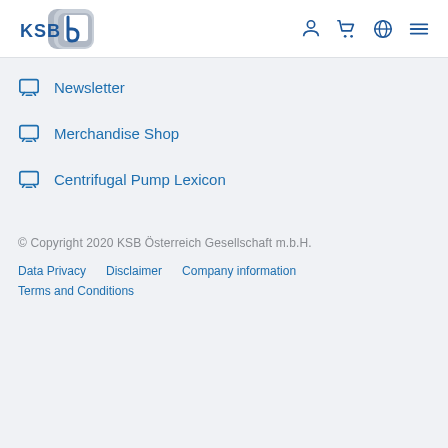[Figure (logo): KSB company logo with stylized blue rounded square and 'KSB b.' text]
Newsletter
Merchandise Shop
Centrifugal Pump Lexicon
© Copyright 2020 KSB Österreich Gesellschaft m.b.H.
Data Privacy   Disclaimer   Company information   Terms and Conditions